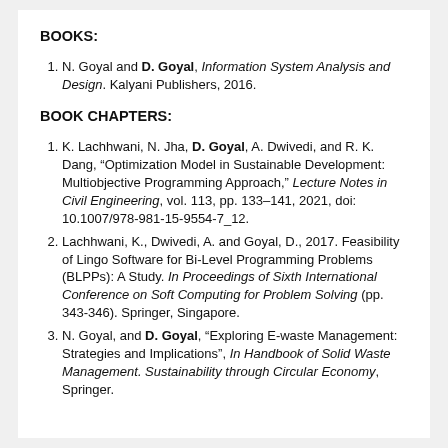BOOKS:
N. Goyal and D. Goyal, Information System Analysis and Design. Kalyani Publishers, 2016.
BOOK CHAPTERS:
K. Lachhwani, N. Jha, D. Goyal, A. Dwivedi, and R. K. Dang, “Optimization Model in Sustainable Development: Multiobjective Programming Approach,” Lecture Notes in Civil Engineering, vol. 113, pp. 133–141, 2021, doi: 10.1007/978-981-15-9554-7_12.
Lachhwani, K., Dwivedi, A. and Goyal, D., 2017. Feasibility of Lingo Software for Bi-Level Programming Problems (BLPPs): A Study. In Proceedings of Sixth International Conference on Soft Computing for Problem Solving (pp. 343-346). Springer, Singapore.
N. Goyal, and D. Goyal, “Exploring E-waste Management: Strategies and Implications”, In Handbook of Solid Waste Management. Sustainability through Circular Economy, Springer.